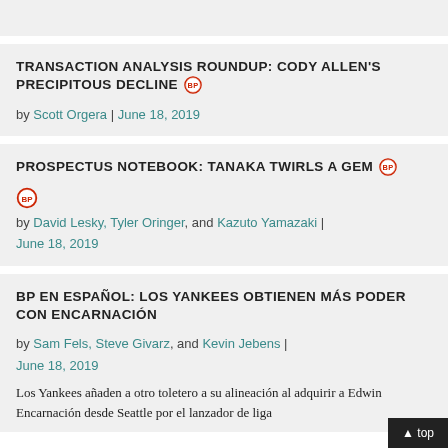TRANSACTION ANALYSIS ROUNDUP: CODY ALLEN'S PRECIPITOUS DECLINE [BP]
by Scott Orgera | June 18, 2019
PROSPECTUS NOTEBOOK: TANAKA TWIRLS A GEM [BP]
by David Lesky, Tyler Oringer, and Kazuto Yamazaki | June 18, 2019
BP EN ESPAÑOL: LOS YANKEES OBTIENEN MÁS PODER CON ENCARNACIÓN
by Sam Fels, Steve Givarz, and Kevin Jebens | June 18, 2019
Los Yankees añaden a otro toletero a su alineación al adquirir a Edwin Encarnación desde Seattle por el lanzador de liga